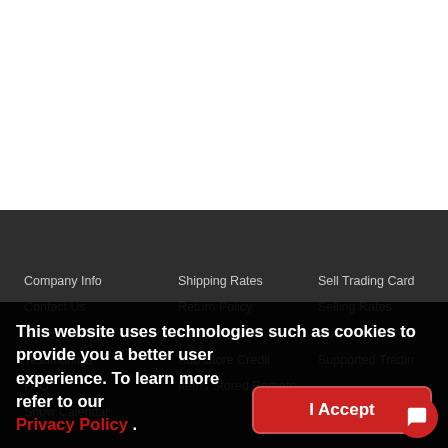Company Info | Shipping Rates | Sell Trading Cards
Contact Us | Return Policy | Selling Rates
Job Openings | Buy Collectibles | How to ship to us
Testimonials | Add Store Credit | Supported Trading Cards
FAQ | Items Stored Remotely | ...
Snow Calendar | | Worth?
This website uses technologies such as cookies to provide you a better user experience. To learn more refer to our Privacy Policy .